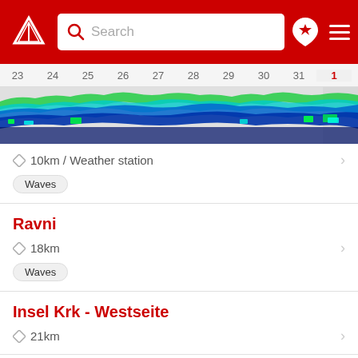Search
[Figure (continuous-plot): Wave chart timeline showing days 23-31 and 1, with colored wave height bars in green, cyan, blue, and dark blue across a gray background strip]
10km / Weather station
Waves
Ravni
18km
Waves
Insel Krk - Westseite
21km
Pinezici / Krk
21km
Waves